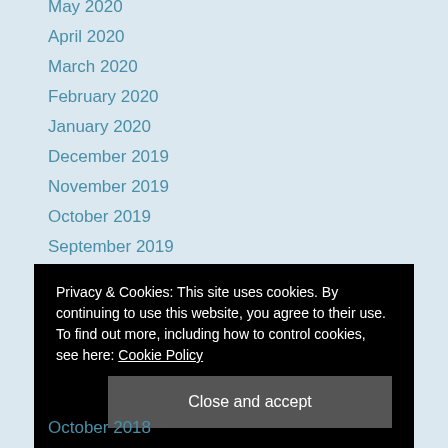May 2020
April 2020
March 2020
February 2020
January 2020
December 2019
November 2019
October 2019
September 2019
August 2019
July 2019
June 2019
May 2019
April 2019
Privacy & Cookies: This site uses cookies. By continuing to use this website, you agree to their use. To find out more, including how to control cookies, see here: Cookie Policy
October 2018